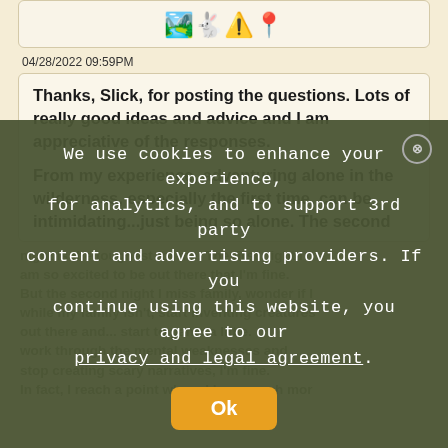[Figure (illustration): Row of emoji icons: landscape photo, running rabbit, recycling/triangle warning, location pin]
04/28/2022 09:59PM
Thanks, Slick, for posting the questions. Lots of really good ideas and advice and I am appreciative of the responses.

From my experience, adventuring alone in the wilderness, especially the first time, can be intimidating...just being so alone. The second
night is the toughest for me. The first night I am so excited to be out there that I'm fine. But the second night I miss family, wonder if I while my family isn't, start inventing creatures out there and... start to panic a little. work through the mental weaknesses and stop creating scary narratives, I'm fine. In fact, I reach a point where I have much mor
We use cookies to enhance your experience, for analytics, and to support 3rd party content and advertising providers. If you continue using this website, you agree to our privacy and legal agreement. Ok